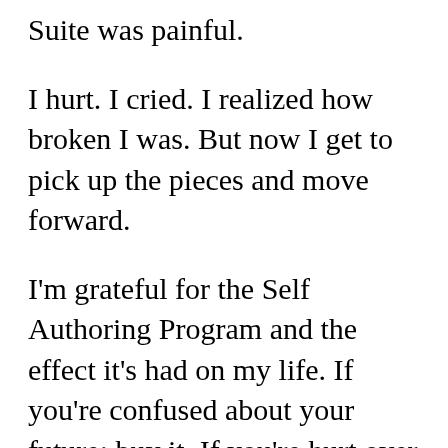Suite was painful.
I hurt. I cried. I realized how broken I was. But now I get to pick up the pieces and move forward.
I'm grateful for the Self Authoring Program and the effect it's had on my life. If you're confused about your future: buy it. If you're hurt over your past: buy it. If you don't know who you are, right now–get the